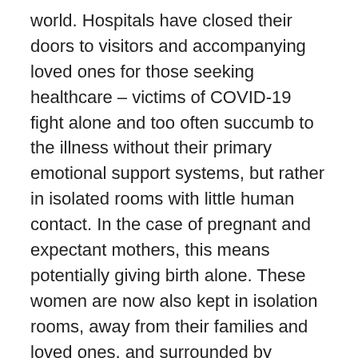world. Hospitals have closed their doors to visitors and accompanying loved ones for those seeking healthcare – victims of COVID-19 fight alone and too often succumb to the illness without their primary emotional support systems, but rather in isolated rooms with little human contact. In the case of pregnant and expectant mothers, this means potentially giving birth alone. These women are now also kept in isolation rooms, away from their families and loved ones, and surrounded by healthcare workers masked in personal protective equipment – a far cry from the societal norms previously established and long withstanding (Hermann, Fitelson, & Bergink, 2020). This newfound isolation and the impact of the pandemic extends to reaching antenatal